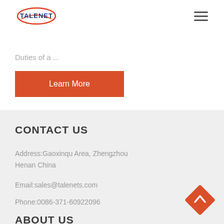TALENET
Duties of a ...
Learn More
CONTACT US
Address:Gaoxinqu Area, Zhengzhou Henan China
Email:sales@talenets.com
Phone:0086-371-60922096
ABOUT US